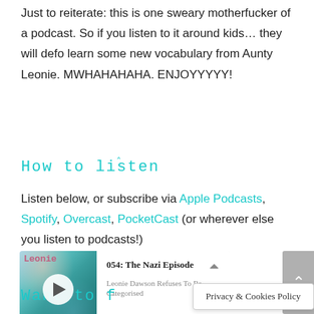Just to reiterate: this is one sweary motherfucker of a podcast. So if you listen to it around kids… they will defo learn some new vocabulary from Aunty Leonie. MWHAHAHAHA. ENJOYYYYY!
How to listen
Listen below, or subscribe via Apple Podcasts, Spotify, Overcast, PocketCast (or wherever else you listen to podcasts!)
[Figure (screenshot): Podcast player widget showing episode '054: The Nazi Episode' by Leonie Dawson Refuses To Be Categorised, with play button, waveform icon, progress bar in purple, and share icon.]
Want to f[...]
Privacy & Cookies Policy